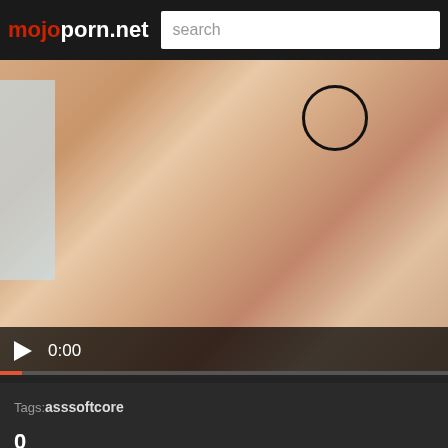mojoporn.net  search
[Figure (screenshot): Video player showing a close-up skin-tone image with a black circle outline in the upper right area. Video controls show a play button and timestamp 0:00. Progress bar is at the beginning.]
Tags:asssoftcore
0